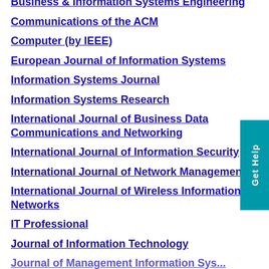Business & Information Systems Engineering
Communications of the ACM
Computer (by IEEE)
European Journal of Information Systems
Information Systems Journal
Information Systems Research
International Journal of Business Data Communications and Networking
International Journal of Information Security
International Journal of Network Management
International Journal of Wireless Information Networks
IT Professional
Journal of Information Technology
Journal of Management Information Sys...